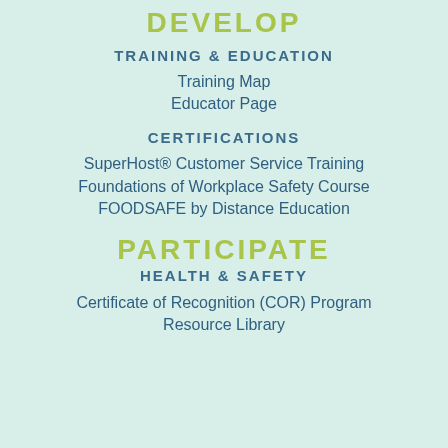DEVELOP
TRAINING & EDUCATION
Training Map
Educator Page
CERTIFICATIONS
SuperHost® Customer Service Training
Foundations of Workplace Safety Course
FOODSAFE by Distance Education
PARTICIPATE
HEALTH & SAFETY
Certificate of Recognition (COR) Program
Resource Library